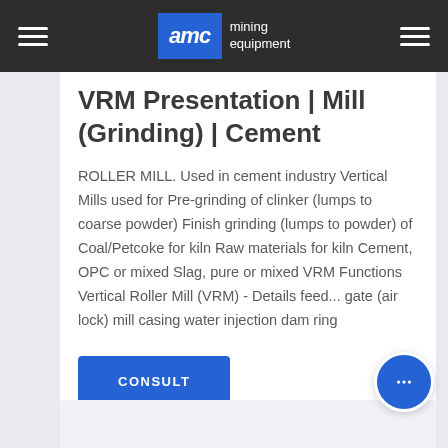AMC mining equipment
VRM Presentation | Mill (Grinding) | Cement
ROLLER MILL. Used in cement industry Vertical Mills used for Pre-grinding of clinker (lumps to coarse powder) Finish grinding (lumps to powder) of Coal/Petcoke for kiln Raw materials for kiln Cement, OPC or mixed Slag, pure or mixed VRM Functions Vertical Roller Mill (VRM) - Details feed... gate (air lock) mill casing water injection dam ring